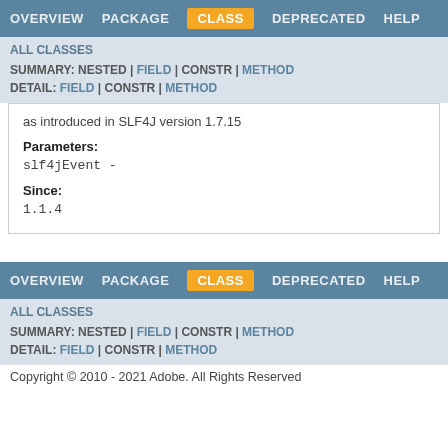OVERVIEW  PACKAGE  CLASS  DEPRECATED  HELP
ALL CLASSES
SUMMARY: NESTED | FIELD | CONSTR | METHOD
DETAIL: FIELD | CONSTR | METHOD
as introduced in SLF4J version 1.7.15
Parameters:
slf4jEvent -
Since:
1.1.4
OVERVIEW  PACKAGE  CLASS  DEPRECATED  HELP
ALL CLASSES
SUMMARY: NESTED | FIELD | CONSTR | METHOD
DETAIL: FIELD | CONSTR | METHOD
Copyright © 2010 - 2021 Adobe. All Rights Reserved